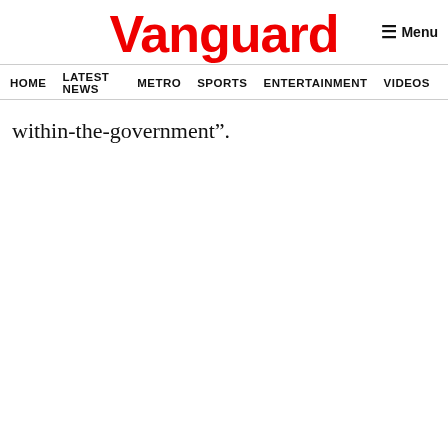Vanguard
Menu
HOME LATEST NEWS METRO SPORTS ENTERTAINMENT VIDEOS
within-the-government”.